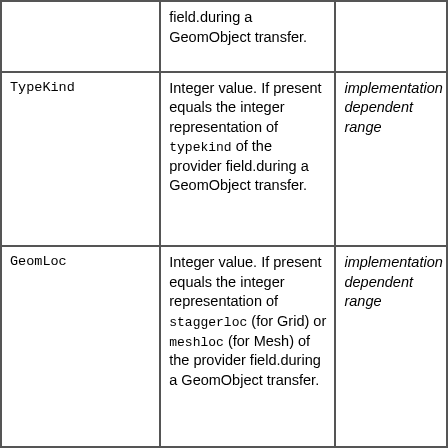|  | field.during a GeomObject transfer. |  |
| TypeKind | Integer value. If present equals the integer representation of typekind of the provider field.during a GeomObject transfer. | implementation dependent range |
| GeomLoc | Integer value. If present equals the integer representation of staggerloc (for Grid) or meshloc (for Mesh) of the provider field.during a GeomObject transfer. | implementation dependent range |